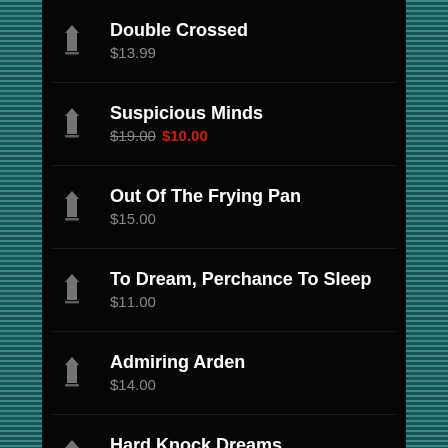Double Crossed
$13.99
Suspicious Minds
$19.00 $10.00
Out Of The Frying Pan
$15.00
To Dream, Perchance To Sleep
$11.00
Admiring Arden
$14.00
Hard Knock Dreams
$12.99